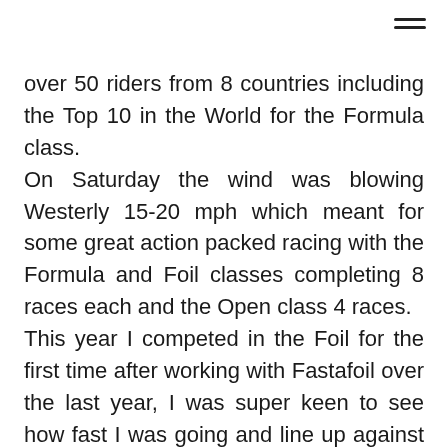over 50 riders from 8 countries including the Top 10 in the World for the Formula class. On Saturday the wind was blowing Westerly 15-20 mph which meant for some great action packed racing with the Formula and Foil classes completing 8 races each and the Open class 4 races. This year I competed in the Foil for the first time after working with Fastafoil over the last year, I was super keen to see how fast I was going and line up against 2014 British Champ Guy Bridge along with 4 visiting French guys. For the first race I used the 10m North Dyno and was super happy to take 3rd place with half the fleet using faster Foil kites. As I wanted more power I quickly headed in to change up to the 13m Dyno and